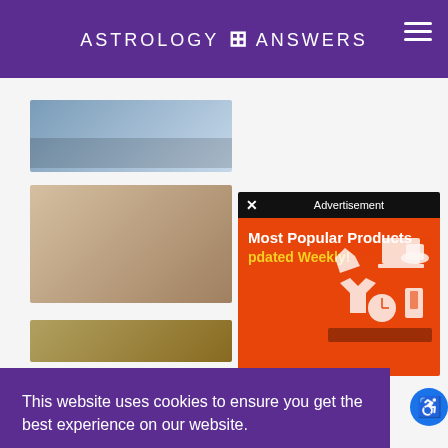ASTROLOGY ANSWERS
[Figure (screenshot): Partial page background showing article thumbnails and text snippets: 'ity Testing', 'ver IRA', 'C']
[Figure (screenshot): Advertisement overlay with black bar showing 'x' close button and 'Advertisement' label, orange background with 'Most Popular Products Updated Weekly!' text in white and yellow, and shopping icons illustration]
This website uses cookies to ensure you get the best experience on our website.
Learn more
Got it!